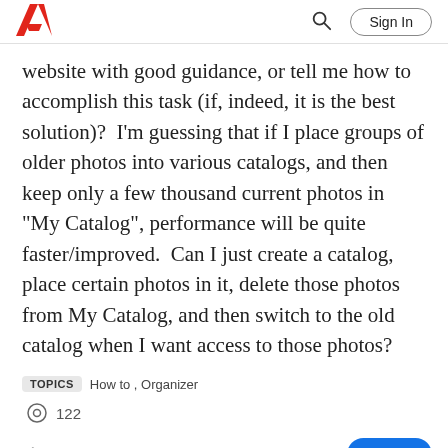Adobe — Sign In
website with good guidance, or tell me how to accomplish this task (if, indeed, it is the best solution)?  I'm guessing that if I place groups of older photos into various catalogs, and then keep only a few thousand current photos in "My Catalog", performance will be quite faster/improved.  Can I just create a catalog, place certain photos in it, delete those photos from My Catalog, and then switch to the old catalog when I want access to those photos?
TOPICS   How to , Organizer
122
Like   Translate   ...   Reply